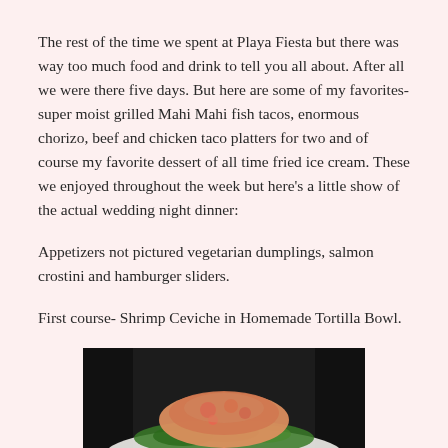The rest of the time we spent at Playa Fiesta but there was way too much food and drink to tell you all about. After all we were there five days. But here are some of my favorites- super moist grilled Mahi Mahi fish tacos, enormous chorizo, beef and chicken taco platters for two and of course my favorite dessert of all time fried ice cream. These we enjoyed throughout the week but here’s a little show of the actual wedding night dinner:
Appetizers not pictured vegetarian dumplings, salmon crostini and hamburger sliders.
First course- Shrimp Ceviche in Homemade Tortilla Bowl.
[Figure (photo): A photo of shrimp ceviche served in a homemade tortilla bowl on a white plate, with greens underneath]